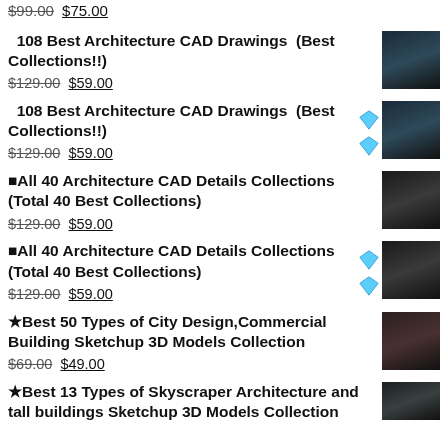$99.00 $75.00
108 Best Architecture CAD Drawings (Best Collections!!) $129.00 $59.00
108 Best Architecture CAD Drawings (Best Collections!!) $129.00 $59.00
⬛All 40 Architecture CAD Details Collections (Total 40 Best Collections) $129.00 $59.00
⬛All 40 Architecture CAD Details Collections (Total 40 Best Collections) $129.00 $59.00
★Best 50 Types of City Design,Commercial Building Sketchup 3D Models Collection $69.00 $49.00
★Best 13 Types of Skyscraper Architecture and tall buildings Sketchup 3D Models Collection